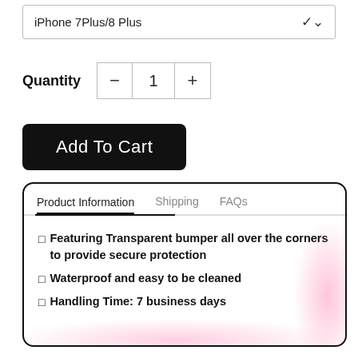iPhone 7Plus/8 Plus
Quantity 1
Add To Cart
Product Information | Shipping | FAQs
Featuring Transparent bumper all over the corners to provide secure protection
Waterproof and easy to be cleaned
Handling Time: 7 business days